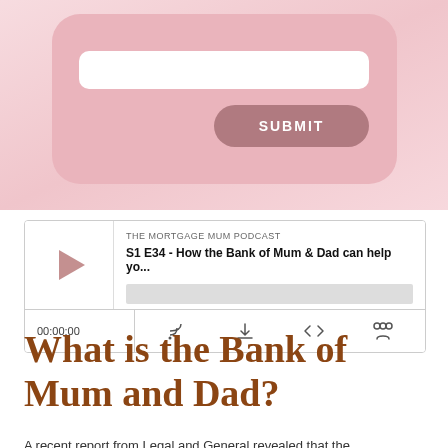[Figure (screenshot): Pink background UI card showing a white input field and a mauve/rose 'SUBMIT' button in a rounded card on a pink gradient background.]
[Figure (screenshot): Podcast player widget for 'THE MORTGAGE MUM PODCAST' - S1 E34 - How the Bank of Mum & Dad can help yo... with play button, progress bar, time display 00:00:00, and control icons for RSS, download, embed, and share.]
What is the Bank of Mum and Dad?
A recent report from Legal and General revealed that the